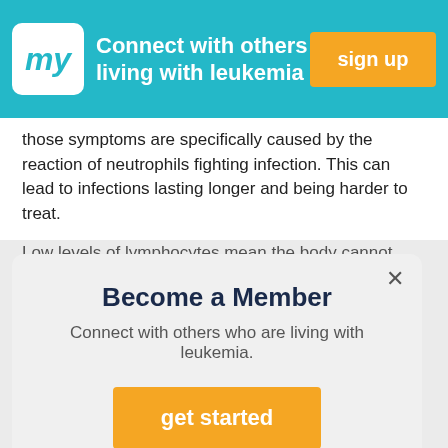Connect with others living with leukemia | sign up
those symptoms are specifically caused by the reaction of neutrophils fighting infection. This can lead to infections lasting longer and being harder to treat.
Low levels of lymphocytes mean the body cannot detect or fight viral infection as easily as usual, as lymphocytes are
[Figure (screenshot): Modal dialog: Become a Member. Connect with others who are living with leukemia. get started button. Close (X) button top right.]
leukopenia.
High White Blood Cell Count
Also known as leukocytosis, a high WBC count is a